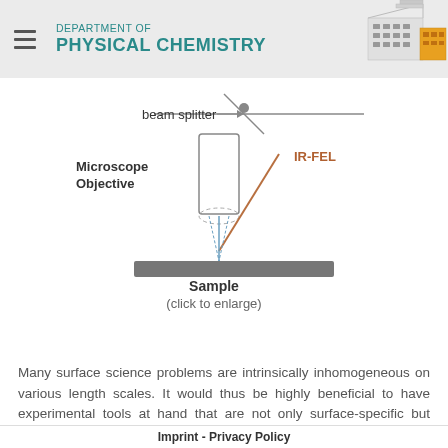DEPARTMENT OF PHYSICAL CHEMISTRY
[Figure (engineering-diagram): Schematic diagram of an IR-FEL microscopy setup showing a beam splitter at the top, a Microscope Objective on the left, an IR-FEL beam (orange/brown line) coming from the right, and a Sample (gray bar) at the bottom where the beams converge. The microscope objective is depicted as a cylindrical lens element with dashed focus lines.]
Sample
(click to enlarge)
Many surface science problems are intrinsically inhomogeneous on various length scales. It would thus be highly beneficial to have experimental tools at hand that are not only surface-specific but additionally also offer high
Imprint - Privacy Policy